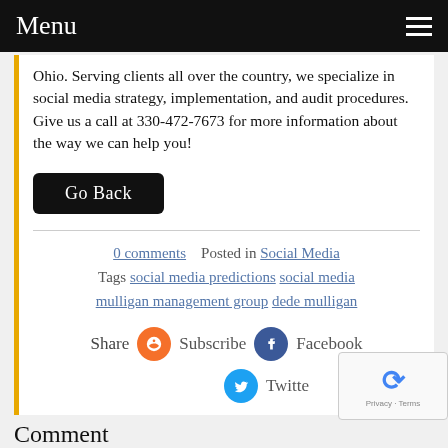Menu
Ohio. Serving clients all over the country, we specialize in social media strategy, implementation, and audit procedures. Give us a call at 330-472-7673 for more information about the way we can help you!
Go Back
0 comments   Posted in Social Media  Tags social media predictions social media mulligan management group dede mulligan
Share   Subscribe   Facebook   Twitter
Comment